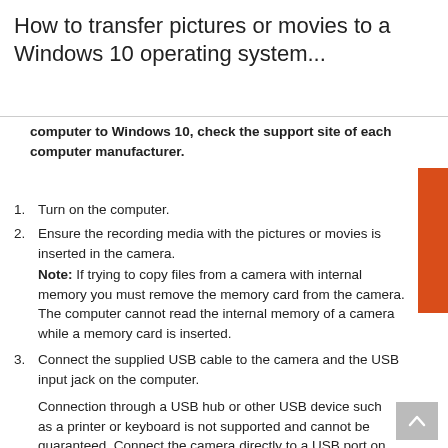How to transfer pictures or movies to a Windows 10 operating system...
computer to Windows 10, check the support site of each computer manufacturer.
Turn on the computer.
Ensure the recording media with the pictures or movies is inserted in the camera. Note: If trying to copy files from a camera with internal memory you must remove the memory card from the camera. The computer cannot read the internal memory of a camera while a memory card is inserted.
Connect the supplied USB cable to the camera and the USB input jack on the computer. Connection through a USB hub or other USB device such as a printer or keyboard is not supported and cannot be guaranteed. Connect the camera directly to a USB port on the computer.